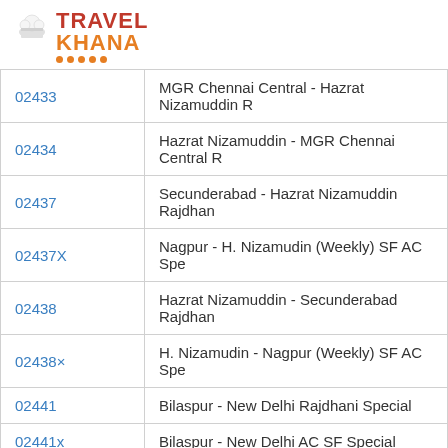TravelKhana
| Train No. | Train Name |
| --- | --- |
| 02433 | MGR Chennai Central - Hazrat Nizamuddin R... |
| 02434 | Hazrat Nizamuddin - MGR Chennai Central R... |
| 02437 | Secunderabad - Hazrat Nizamuddin Rajdhan... |
| 02437X | Nagpur - H. Nizamudin (Weekly) SF AC Spe... |
| 02438 | Hazrat Nizamuddin - Secunderabad Rajdhan... |
| 02438× | H. Nizamudin - Nagpur (Weekly) SF AC Spe... |
| 02441 | Bilaspur - New Delhi Rajdhani Special |
| 02441x | Bilaspur - New Delhi AC SF Special |
| 02442 | New Delhi - Bilaspur Rajdhani Special |
| 02511 | Gorakhpur - Kochuveli Rapti Sagar SF Festi... |